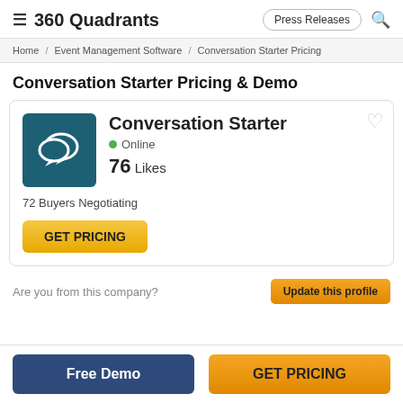360 Quadrants | Press Releases
Home / Event Management Software / Conversation Starter Pricing
Conversation Starter Pricing & Demo
[Figure (logo): Conversation Starter product logo: teal/dark blue square with two overlapping speech bubble icons in white]
Conversation Starter
Online
76 Likes
72 Buyers Negotiating
GET PRICING
Are you from this company?  Update this profile
Free Demo  GET PRICING